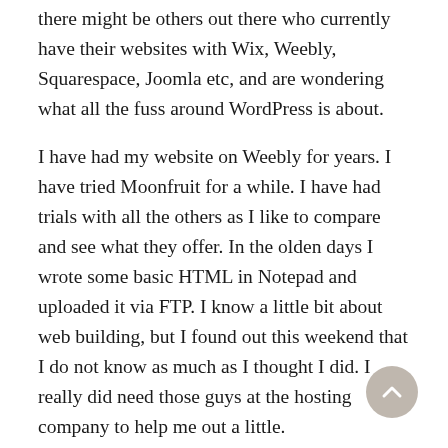there might be others out there who currently have their websites with Wix, Weebly, Squarespace, Joomla etc, and are wondering what all the fuss around WordPress is about.
I have had my website on Weebly for years. I have tried Moonfruit for a while. I have had trials with all the others as I like to compare and see what they offer. In the olden days I wrote some basic HTML in Notepad and uploaded it via FTP. I know a little bit about web building, but I found out this weekend that I do not know as much as I thought I did. I really did need those guys at the hosting company to help me out a little.
Stay out of the Kitchen
And that brings me to one of the main differences between WordPress (self hosted)  and web builders (hosted). With WordPress you have access to all the nitty-gritty in the